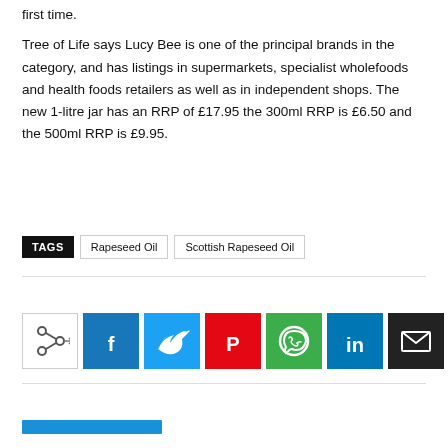first time.

Tree of Life says Lucy Bee is one of the principal brands in the category, and has listings in supermarkets, specialist wholefoods and health foods retailers as well as in independent shops. The new 1-litre jar has an RRP of £17.95 the 300ml RRP is £6.50 and the 500ml RRP is £9.95.
TAGS  Rapeseed Oil  Scottish Rapeseed Oil